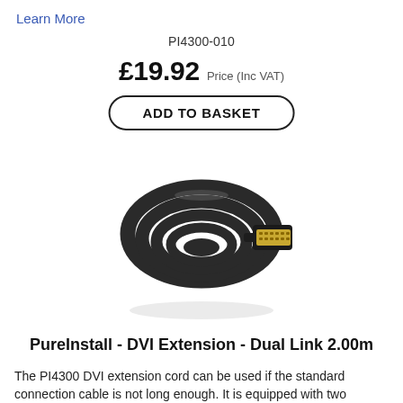Learn More
PI4300-010
£19.92 Price (Inc VAT)
ADD TO BASKET
[Figure (photo): A coiled black DVI extension cable with a gold-plated DVI connector visible on the right side, wound into a neat circular coil against a white background.]
PureInstall - DVI Extension - Dual Link 2.00m
The PI4300 DVI extension cord can be used if the standard connection cable is not long enough. It is equipped with two